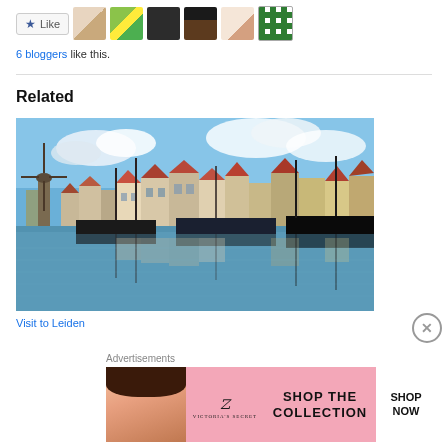[Figure (other): Like button with star icon and 6 blogger avatar thumbnails]
6 bloggers like this.
Related
[Figure (photo): Photo of Leiden waterfront with canal reflections, old Dutch buildings, sailboats and a windmill under blue sky]
Visit to Leiden
Advertisements
[Figure (photo): Victoria's Secret advertisement banner: model with curly hair, VS logo, text SHOP THE COLLECTION, SHOP NOW button]